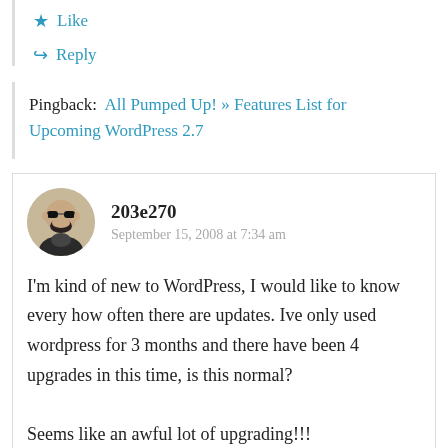★ Like
↪ Reply
Pingback:  All Pumped Up! » Features List for Upcoming WordPress 2.7
203e270
September 15, 2008 at 7:34 am
I'm kind of new to WordPress, I would like to know every how often there are updates. Ive only used wordpress for 3 months and there have been 4 upgrades in this time, is this normal?

Seems like an awful lot of upgrading!!!